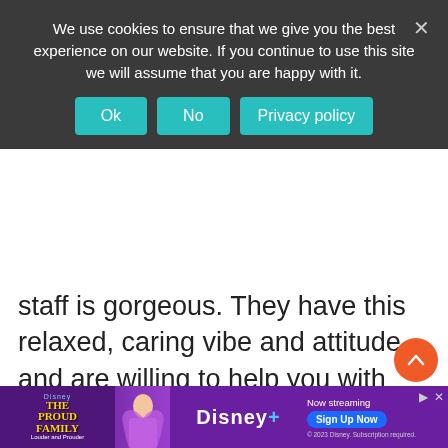We use cookies to ensure that we give you the best experience on our website. If you continue to use this site we will assume that you are happy with it.
Ok | No | Privacy policy
staff is gorgeous. They have this relaxed, caring vibe and attitude and are willing to help you with anything. The owner is amazing too, willing to help with whatever you need. Gandhi Hostel offers motorbike rental and trips to all sorts of places (Gili's, rafting, volcano spotting in Java. All for a very reasonable price and guaranteed lots of fun! Extremely friendly and comfortable budget homestay, truly one of the best hostels in Denpasar, Indonesia!
[Figure (screenshot): Advertisement banner for Disney+ featuring The Proud Family: Louder and Prouder. Shows the show logo, a character, Disney+ logo, 'Now streaming' text, 'Sign Up Now' button, and copyright notice.]